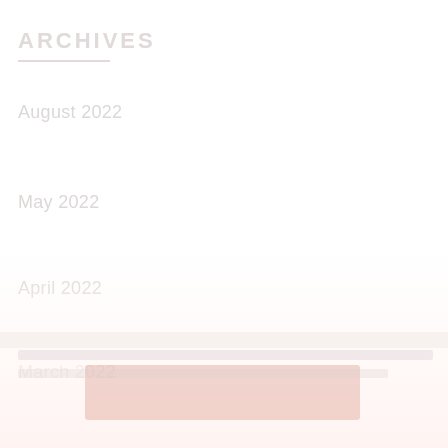ARCHIVES
August 2022
May 2022
April 2022
March 2022
February 2022